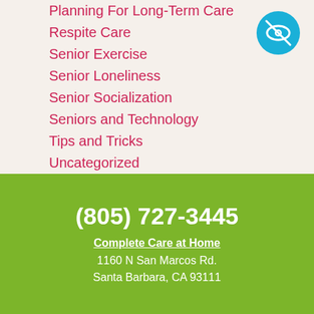Planning For Long-Term Care
Respite Care
Senior Exercise
Senior Loneliness
Senior Socialization
Seniors and Technology
Tips and Tricks
Uncategorized
[Figure (logo): Blue circle with a crossed-out eye icon]
(805) 727-3445
Complete Care at Home
1160 N San Marcos Rd.
Santa Barbara, CA 93111